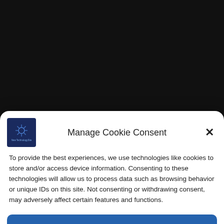IPhone
Latest Posts
New Energy Solutions
Robotics
[Figure (logo): Small square logo with dark blue background and tech/network graphic, with text 'New TechnologySite']
Manage Cookie Consent
To provide the best experiences, we use technologies like cookies to store and/or access device information. Consenting to these technologies will allow us to process data such as browsing behavior or unique IDs on this site. Not consenting or withdrawing consent, may adversely affect certain features and functions.
Accept